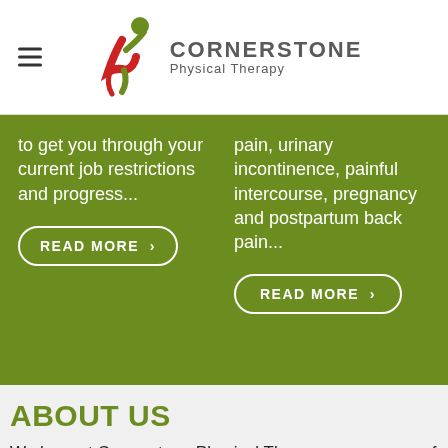[Figure (logo): Cornerstone Physical Therapy logo with a running figure in red and green, company name in grey uppercase letters and 'Physical Therapy' subtitle]
to get you through your current job restrictions and progress...
pain, urinary incontinence, painful intercourse, pregnancy and postpartum back pain...
READ MORE >
READ MORE >
ABOUT US
We here at Cornerstone Physical Therapy are a group of providers driven to solveproblems associated pain or